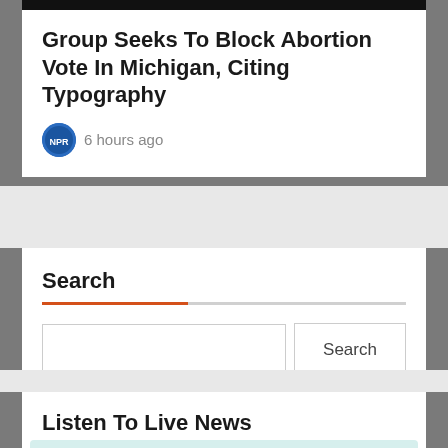Group Seeks To Block Abortion Vote In Michigan, Citing Typography
6 hours ago
Search
Listen To Live News